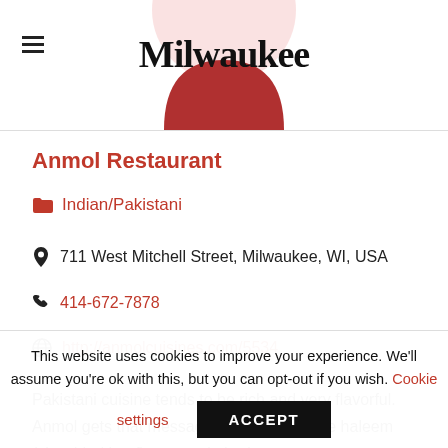Milwaukee
Anmol Restaurant
Indian/Pakistani
711 West Mitchell Street, Milwaukee, WI, USA
414-672-7878
http://anmolcuisines.com/5534
Pakistani cuisine tends to be rich and very flavorful. Anmol gets that message. Meat dishes like haleem (shredded beef), mutton kahari
This website uses cookies to improve your experience. We'll assume you're ok with this, but you can opt-out if you wish. Cookie settings ACCEPT